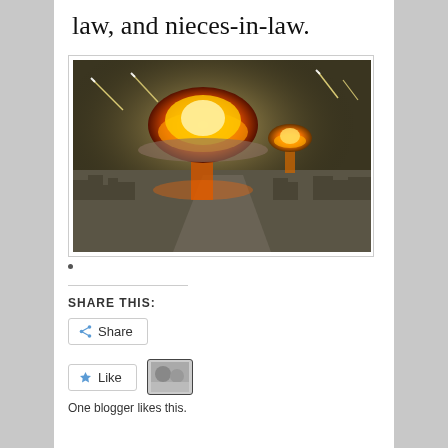law, and nieces-in-law.
[Figure (photo): Aerial view of a city with two large nuclear explosion mushroom clouds rising above it, dramatic orange and yellow fireballs against a dark sky, with streaking meteors/comets visible in the background.]
SHARE THIS:
Share
Like
One blogger likes this.